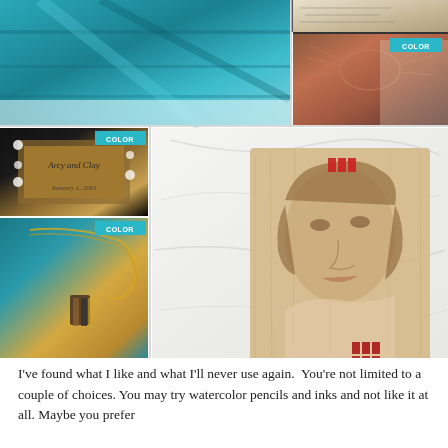[Figure (photo): Collage of craft/art images: teal painted wood surface (top left), sketch drawings (top right), colorful crab illustration with COLOR tag, wood picture frame with cursive text 'Arcy and Clay' and 'January 1, 2001' with COLOR tag, large Marilyn Monroe portrait pyrography on wood with red stamp marks, gold necklace with leather pendant with COLOR tag]
I've found what I like and what I'll never use again.  You're not limited to a couple of choices. You may try watercolor pencils and inks and not like it at all. Maybe you prefer